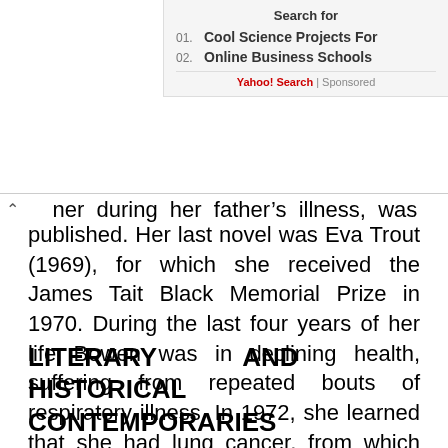Search for
01. Cool Science Projects For
02. Online Business Schools
Yahoo! Search | Sponsored
her during her father's illness, was published. Her last novel was Eva Trout (1969), for which she received the James Tait Black Memorial Prize in 1970. During the last four years of her life Bowen was in declining health, suffering from repeated bouts of respiratory illness. In 1972, she learned that she had lung cancer, from which she died on February 22, 1973.
LITERARY AND HISTORICAL CONTEMPORARIES